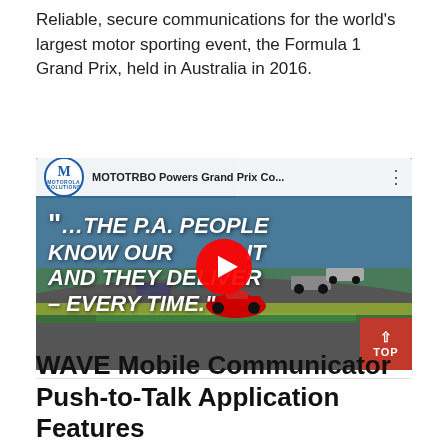Reliable, secure communications for the world's largest motor sporting event, the Formula 1 Grand Prix, held in Australia in 2016.
[Figure (screenshot): YouTube video thumbnail for 'MOTOTRBO Powers Grand Prix Co...' showing Formula 1 racing cars on track with text overlay reading '"...THE P.A. PEOPLE KNOW OUR IT AND THEY DELIVER – EVERY TIME."' with a YouTube play button in the center. The video is from Motorola Solutions.]
WAVE Mobile Communicator Push-to-Talk Application Features